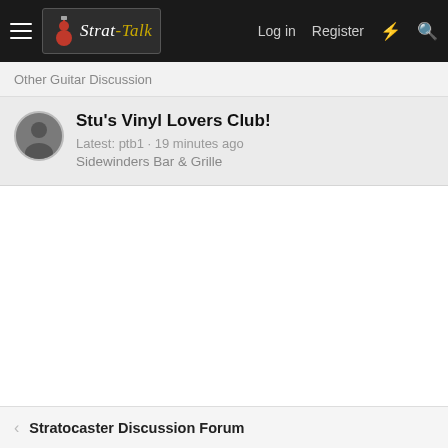Strat-Talk | Log in | Register
Other Guitar Discussion
Stu's Vinyl Lovers Club!
Latest: ptb1 · 19 minutes ago
Sidewinders Bar & Grille
Stratocaster Discussion Forum